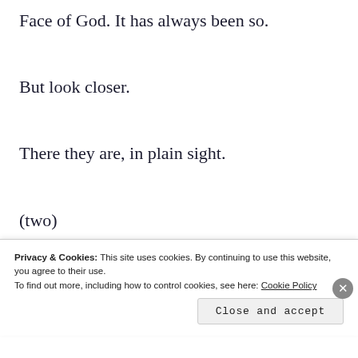Face of God. It has always been so.
But look closer.
There they are, in plain sight.
(two)
And, as they lean closer in the empty piazza, for a moment, their shadows become…
Privacy & Cookies: This site uses cookies. By continuing to use this website, you agree to their use.
To find out more, including how to control cookies, see here: Cookie Policy